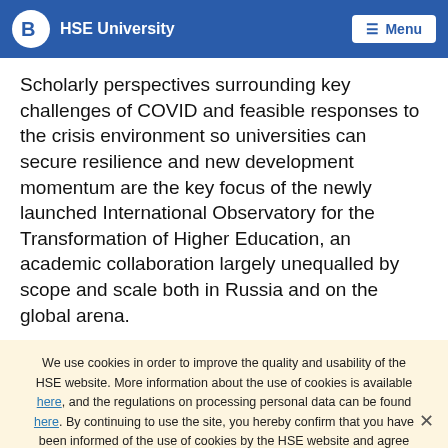HSE University  Menu
Scholarly perspectives surrounding key challenges of COVID and feasible responses to the crisis environment so universities can secure resilience and new development momentum are the key focus of the newly launched International Observatory for the Transformation of Higher Education, an academic collaboration largely unequalled by scope and scale both in Russia and on the global arena.
We use cookies in order to improve the quality and usability of the HSE website. More information about the use of cookies is available here, and the regulations on processing personal data can be found here. By continuing to use the site, you hereby confirm that you have been informed of the use of cookies by the HSE website and agree with our rules for processing personal data. You may disable cookies in your browser settings.